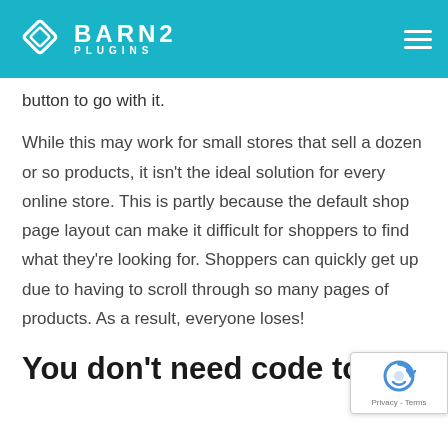BARN2 PLUGINS
button to go with it.
While this may work for small stores that sell a dozen or so products, it isn't the ideal solution for every online store. This is partly because the default shop page layout can make it difficult for shoppers to find what they're looking for. Shoppers can quickly get up due to having to scroll through so many pages of products. As a result, everyone loses!
You don't need code to